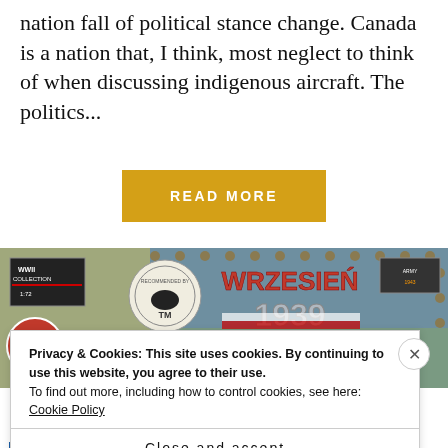nation fall of political stance change. Canada is a nation that, I think, most neglect to think of when discussing indigenous aircraft. The politics...
READ MORE
[Figure (illustration): WWII Collection 1:72 scale model kit banner for 'Wrzesien 1939 Kolekcja Historyczna' showing Polish soldiers and war imagery with logos and badges]
Privacy & Cookies: This site uses cookies. By continuing to use this website, you agree to their use.
To find out more, including how to control cookies, see here: Cookie Policy
Close and accept